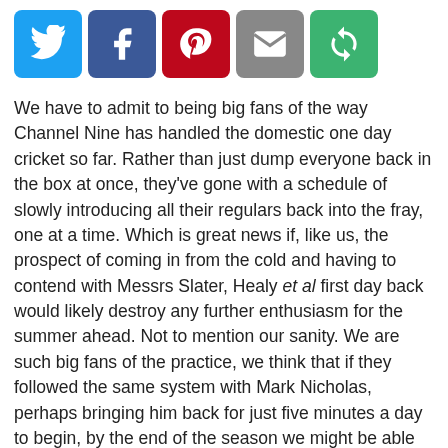[Figure (infographic): Row of five social media sharing icons: Twitter (blue bird), Facebook (blue f), Pinterest (red P), Email (grey envelope), Share (green circular arrows)]
We have to admit to being big fans of the way Channel Nine has handled the domestic one day cricket so far. Rather than just dump everyone back in the box at once, they've gone with a schedule of slowly introducing all their regulars back into the fray, one at a time. Which is great news if, like us, the prospect of coming in from the cold and having to contend with Messrs Slater, Healy et al first day back would likely destroy any further enthusiasm for the summer ahead. Not to mention our sanity. We are such big fans of the practice, we think that if they followed the same system with Mark Nicholas, perhaps bringing him back for just five minutes a day to begin, by the end of the season we might be able to put up with a whole session of his inane natterings. Possibly.
As the one day tournament shifted south to Sydney, Ian Chappell was the first to be reintroduced back into the fold. Chapelli is probably the most loved of all of the Channel Nine commentators, and the last remaining member of the old guard (unless Richie, quite literally, phones in a few performances later in the summer).